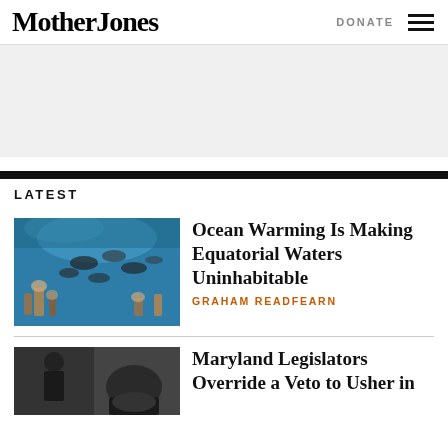Mother Jones
DONATE
[Figure (other): Advertisement banner placeholder, light gray background]
LATEST
[Figure (photo): Underwater photo showing fish swimming over a coral reef in blue tropical water]
Ocean Warming Is Making Equatorial Waters Uninhabitable
GRAHAM READFEARN
[Figure (photo): Black and white photo showing a person and dark boots/equipment]
Maryland Legislators Override a Veto to Usher in